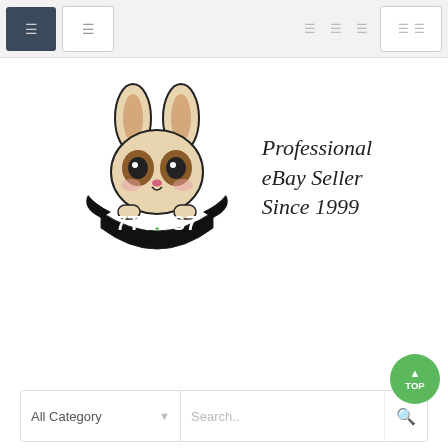Navigation bar with dark home button, light menu button, and icons
[Figure (logo): 7Toys7 logo: cartoon bunny/rabbit character above text '7TOYS7' with wing emblem, beside cursive text 'Professional eBay Seller Since 1999']
All Category | Search..
SHOPPING CART
0 item(s) - US$0.000